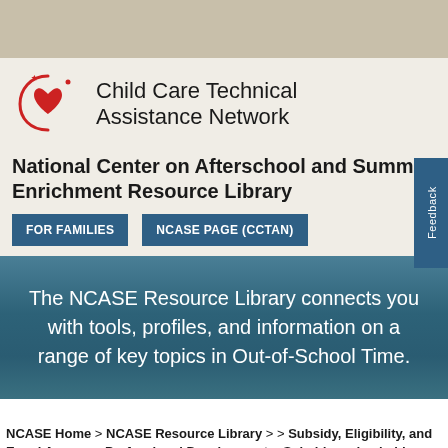[Figure (logo): Child Care Technical Assistance Network logo with red heart and circular swoosh design]
National Center on Afterschool and Summer Enrichment Resource Library
FOR FAMILIES | NCASE PAGE (CCTAN)
Feedback
The NCASE Resource Library connects you with tools, profiles, and information on a range of key topics in Out-of-School Time.
NCASE Home > NCASE Resource Library > > Subsidy, Eligibility, and Equal Access > Professional Development > Subsidy and subsidy